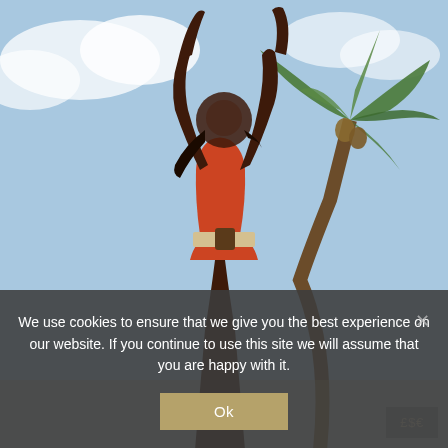[Figure (photo): A person wearing an orange belted one-piece swimsuit posing outdoors with arms raised, in front of a palm tree against a blue sky with clouds.]
We use cookies to ensure that we give you the best experience on our website. If you continue to use this site we will assume that you are happy with it.
Ok
£$€